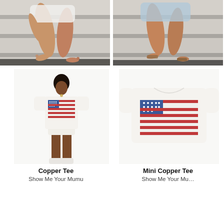[Figure (photo): Two photos side by side showing people sitting on steps, wearing casual summer outfits, barefoot on concrete stairs]
[Figure (photo): Model wearing white American flag graphic tee (Copper Tee) with white shorts and sneakers, full body view]
Copper Tee
Show Me Your Mumu
[Figure (photo): White cropped American flag graphic tee (Mini Copper Tee), product flat lay showing flag graphic on chest]
Mini Copper Tee
Show Me Your Mu...